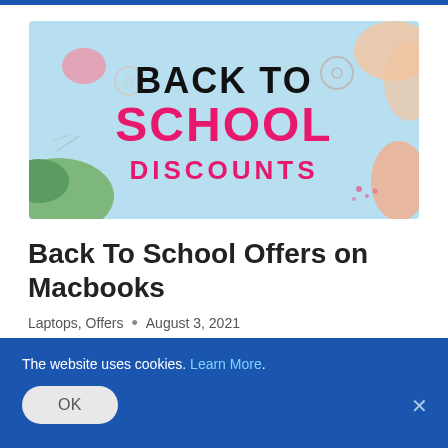[Figure (illustration): Back To School Discounts promotional banner with light blue background, colorful decorative shapes in corners, 'BACK TO' in bold black text and 'SCHOOL DISCOUNTS' in hot pink bold text]
Back To School Offers on Macbooks
Laptops, Offers • August 3, 2021
The website uses cookies. Learn More.
OK